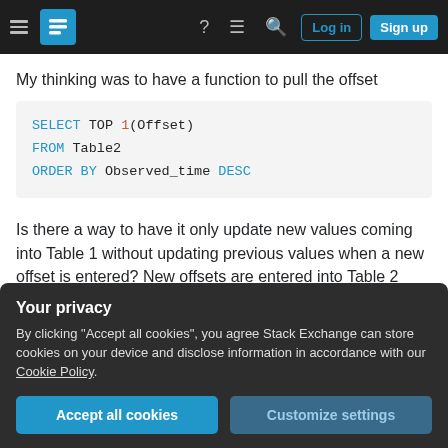Stack Exchange navigation bar with Log in and Sign up buttons
My thinking was to have a function to pull the offset
Is there a way to have it only update new values coming into Table 1 without updating previous values when a new offset is entered? New offsets are entered into Table 2 very sporadically as field crews visit the site.
Your privacy
By clicking "Accept all cookies", you agree Stack Exchange can store cookies on your device and disclose information in accordance with our Cookie Policy.
Accept all cookies   Customize settings
the most recent value.